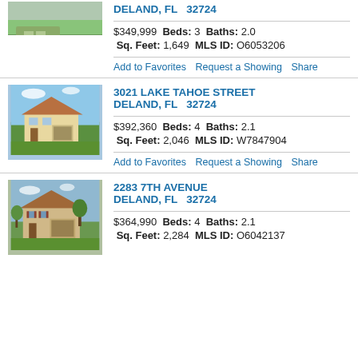[Figure (photo): Partial house photo at top of page]
DELAND, FL  32724
$349,999  Beds: 3  Baths: 2.0
Sq. Feet: 1,649  MLS ID: O6053206
Add to Favorites  Request a Showing  Share
[Figure (photo): Two-story house with garage, green lawn, blue sky]
3021 LAKE TAHOE STREET
DELAND, FL  32724
$392,360  Beds: 4  Baths: 2.1
Sq. Feet: 2,046  MLS ID: W7847904
Add to Favorites  Request a Showing  Share
[Figure (photo): Two-story beige/tan house with garage and trees]
2283 7TH AVENUE
DELAND, FL  32724
$364,990  Beds: 4  Baths: 2.1
Sq. Feet: 2,284  MLS ID: O6042137